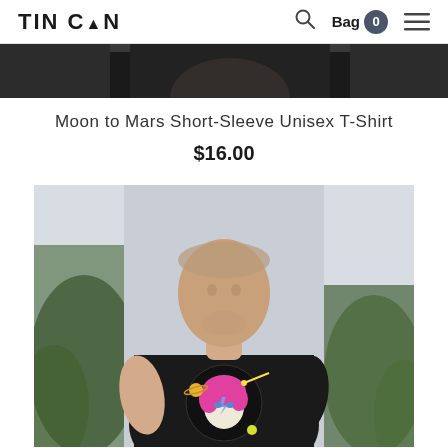TIN CAN | Search | Bag 0 | Menu
[Figure (photo): Top portion of a product photo — dark background cropped at top of page]
Moon to Mars Short-Sleeve Unisex T-Shirt
$16.00
[Figure (photo): Model wearing a black short-sleeve unisex t-shirt with a pink-haired space figure graphic. The model is a young man with short hair, photographed from the waist up against a light grey background, with green plants visible on either side.]